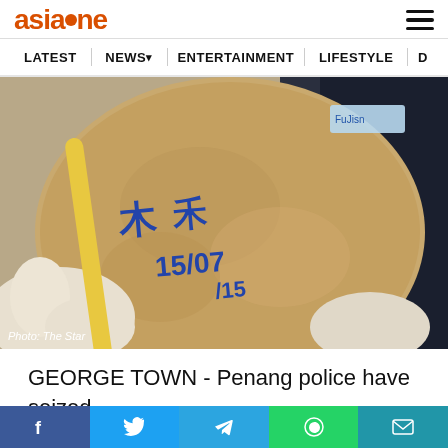asiaone
LATEST  NEWS  ENTERTAINMENT  LIFESTYLE  D
[Figure (photo): A gloved hand holding a coconut with Chinese characters and numbers written on it in blue marker. A yellow rubber band is wrapped around it. Photo credit: The Star]
Photo: The Star
GEORGE TOWN - Penang police have seized